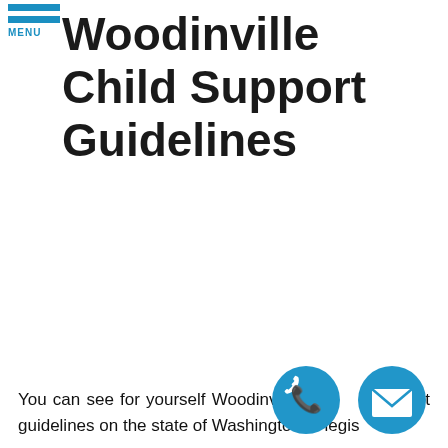MENU
Woodinville Child Support Guidelines
You can see for yourself Woodinville child support guidelines on the state of Washington legislature's